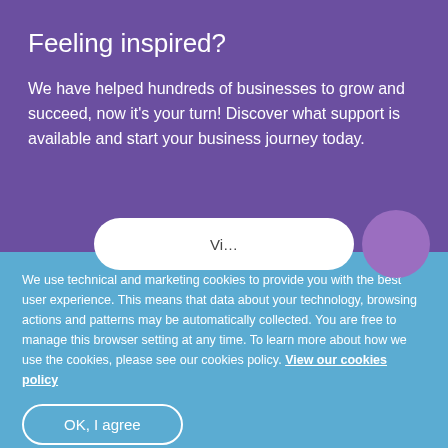Feeling inspired?
We have helped hundreds of businesses to grow and succeed, now it's your turn! Discover what support is available and start your business journey today.
We use technical and marketing cookies to provide you with the best user experience. This means that data about your technology, browsing actions and patterns may be automatically collected. You are free to manage this browser setting at any time. To learn more about how we use the cookies, please see our cookies policy. View our cookies policy
OK, I agree